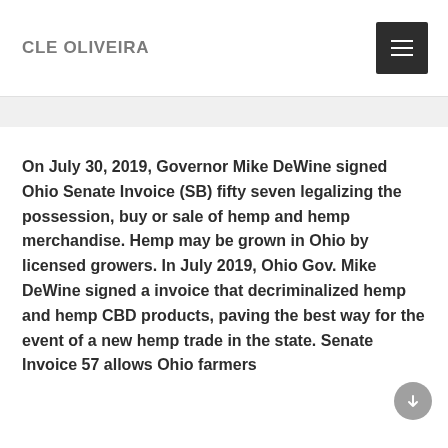CLE OLIVEIRA
On July 30, 2019, Governor Mike DeWine signed Ohio Senate Invoice (SB) fifty seven legalizing the possession, buy or sale of hemp and hemp merchandise. Hemp may be grown in Ohio by licensed growers. In July 2019, Ohio Gov. Mike DeWine signed a invoice that decriminalized hemp and hemp CBD products, paving the best way for the event of a new hemp trade in the state. Senate Invoice 57 allows Ohio farmers